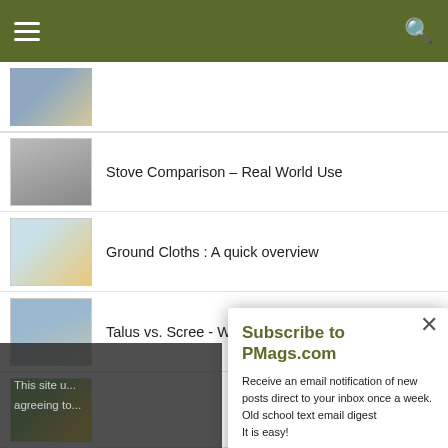Navigation bar with hamburger menu and search icon
Stove Comparison – Real World Use
Ground Cloths : A quick overview
Talus vs. Scree - What is the difference?
(partially visible item with camp chair image)
(partially visible item with canyon image)
This site u... agreeing to...
Subscribe to PMags.com
Receive an email notification of new posts direct to your inbox once a week.
Old school text email digest
It is easy!
CLICK HERE TO SUBSCRIBE